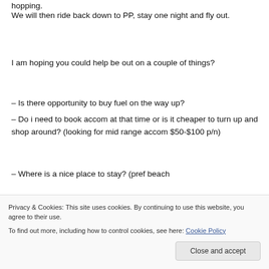hopping.
We will then ride back down to PP, stay one night and fly out.
I am hoping you could help be out on a couple of things?
– Is there opportunity to buy fuel on the way up?
– Do i need to book accom at that time or is it cheaper to turn up and shop around? (looking for mid range accom $50-$100 p/n)
– Where is a nice place to stay? (pref beach
Privacy & Cookies: This site uses cookies. By continuing to use this website, you agree to their use.
To find out more, including how to control cookies, see here: Cookie Policy
Close and accept